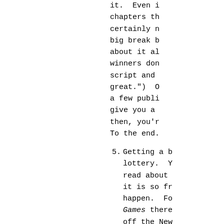it.  Even i
chapters th
certainly n
big break b
about it al
winners don
script and 
great.")  O
a few publi
give you a 
then, you'r
To the end.
5.  Getting a b
    lottery.  Y
    read about 
    it is so fr
    happen.  Fo
    Games there
    off the New
    way to roya
6.  You've got 
    famous acto
    me,  that I